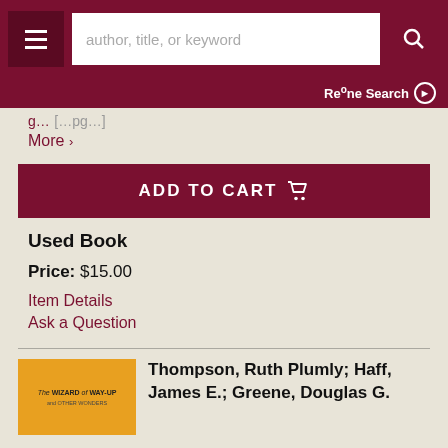author, title, or keyword | Refine Search
More >
ADD TO CART
Used Book
Price: $15.00
Item Details
Ask a Question
Thompson, Ruth Plumly; Haff, James E.; Greene, Douglas G.